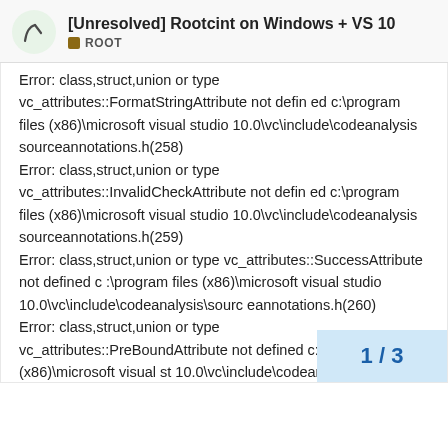[Unresolved] Rootcint on Windows + VS 10 ROOT
Error: class,struct,union or type vc_attributes::FormatStringAttribute not defined c:\program files (x86)\microsoft visual studio 10.0\vc\include\codeanalysis sourceannotations.h(258) Error: class,struct,union or type vc_attributes::InvalidCheckAttribute not defined c:\program files (x86)\microsoft visual studio 10.0\vc\include\codeanalysis sourceannotations.h(259) Error: class,struct,union or type vc_attributes::SuccessAttribute not defined c:\program files (x86)\microsoft visual studio 10.0\vc\include\codeanalysis\sourceannotations.h(260) Error: class,struct,union or type vc_attributes::PreBoundAttribute not defined c:\program files (x86)\microsoft visual st 10.0\vc\include\codeanalysis\sour
1 / 3